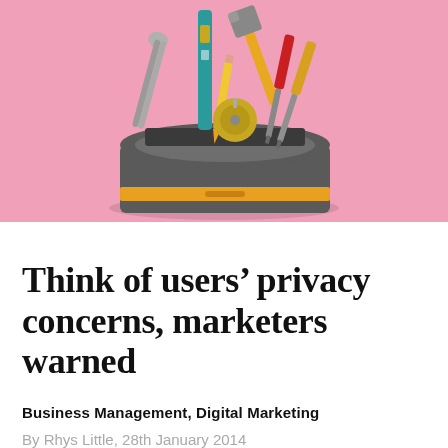Plug & Play
[Figure (illustration): A toolbox illustration containing various tools including pliers, a spirit level, a hammer, a tape measure, a pencil, and screwdrivers, set against a pink background.]
Think of users' privacy concerns, marketers warned
Business Management, Digital Marketing
By Rhys Little, 28th January 2014